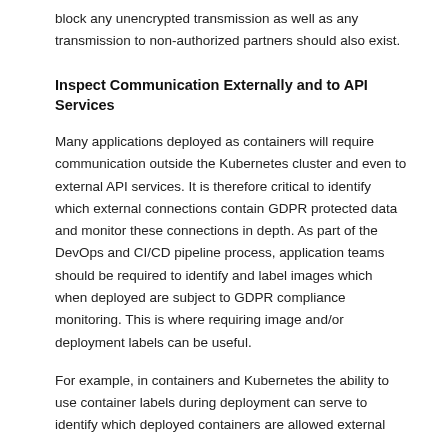block any unencrypted transmission as well as any transmission to non-authorized partners should also exist.
Inspect Communication Externally and to API Services
Many applications deployed as containers will require communication outside the Kubernetes cluster and even to external API services. It is therefore critical to identify which external connections contain GDPR protected data and monitor these connections in depth. As part of the DevOps and CI/CD pipeline process, application teams should be required to identify and label images which when deployed are subject to GDPR compliance monitoring. This is where requiring image and/or deployment labels can be useful.
For example, in containers and Kubernetes the ability to use container labels during deployment can serve to identify which deployed containers are allowed external